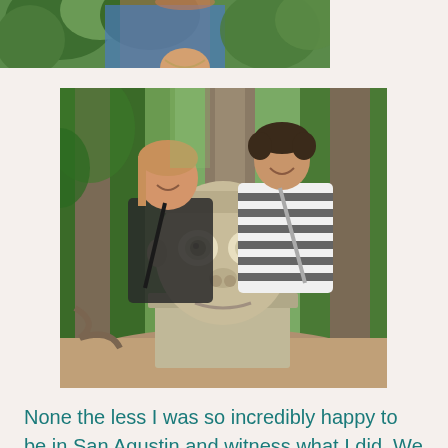[Figure (photo): Partial photo at top of page showing a person wearing a blue patterned outfit against a green background, cropped at the bottom]
[Figure (photo): Two people standing behind a large ancient stone carved head sculpture (San Agustin archaeological statue) in a jungle/forest setting with trees in the background]
None the less I was so incredibly happy to be in San Agustin and witness what I did. We continued the day seeing many different places